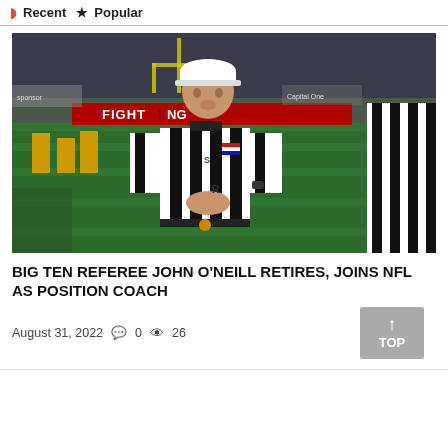Recent  Popular
[Figure (photo): NFL/college football referee wearing black and white striped uniform with white cap and American flag patch, standing on a football field during a game]
BIG TEN REFEREE JOHN O'NEILL RETIRES, JOINS NFL AS POSITION COACH
August 31, 2022   0   26